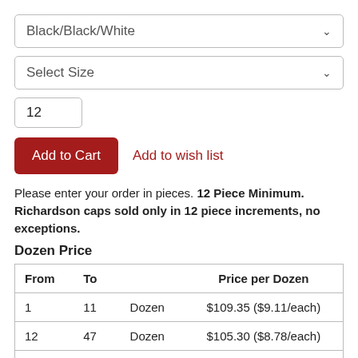Black/Black/White
Select Size
12
Add to Cart
Add to wish list
Please enter your order in pieces. 12 Piece Minimum. Richardson caps sold only in 12 piece increments, no exceptions.
Dozen Price
| From | To |  | Price per Dozen |
| --- | --- | --- | --- |
| 1 | 11 | Dozen | $109.35 ($9.11/each) |
| 12 | 47 | Dozen | $105.30 ($8.78/each) |
| 48 | 119 | Dozen | $101.25 ($8.44/each) |